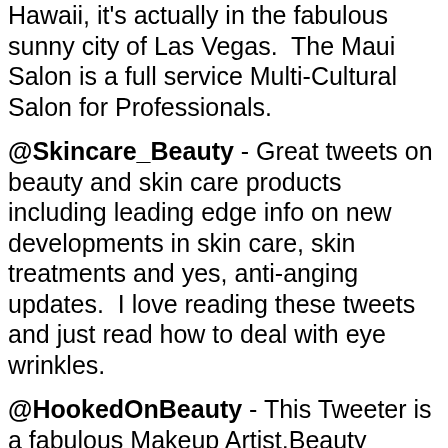Hawaii, it's actually in the fabulous sunny city of Las Vegas.  The Maui Salon is a full service Multi-Cultural Salon for Professionals.
@Skincare_Beauty - Great tweets on beauty and skin care products including leading edge info on new developments in skin care, skin treatments and yes, anti-anging updates.  I love reading these tweets and just read how to deal with eye wrinkles.
@HookedOnBeauty - This Tweeter is a fabulous Makeup Artist,Beauty Editor, Beauty Expert for Fox's Good Day Colorado and a Vegetarian.